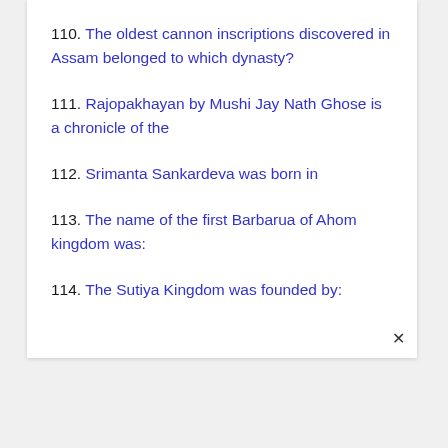110. The oldest cannon inscriptions discovered in Assam belonged to which dynasty?
111. Rajopakhayan by Mushi Jay Nath Ghose is a chronicle of the
112. Srimanta Sankardeva was born in
113. The name of the first Barbarua of Ahom kingdom was:
114. The Sutiya Kingdom was founded by: